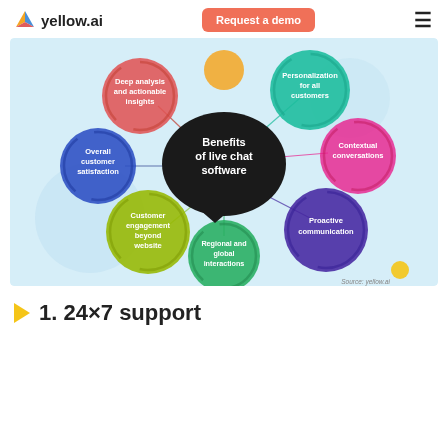yellow.ai | Request a demo
[Figure (infographic): Bubble diagram showing 'Benefits of live chat software' in the center (black speech bubble), surrounded by 6 colored circles: Deep analysis and actionable insights (red/pink), Personalization for all customers (teal), Contextual conversations (pink), Proactive communication (dark blue/purple), Regional and global interactions (green), Customer engagement beyond website (olive/yellow-green), Overall customer satisfaction (dark blue). Source: yellow.ai]
1. 24×7 support